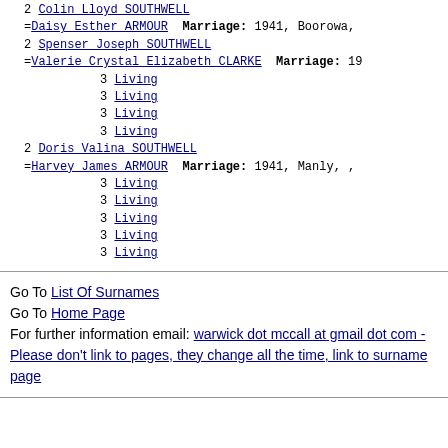2 Colin Lloyd SOUTHWELL =Daisy Esther ARMOUR Marriage: 1941, Boorowa,
2 Spenser Joseph SOUTHWELL =Valerie Crystal Elizabeth CLARKE Marriage: 19
3 Living
3 Living
3 Living
3 Living
2 Doris Valina SOUTHWELL =Harvey James ARMOUR Marriage: 1941, Manly, ,
3 Living
3 Living
3 Living
3 Living
3 Living
Go To List Of Surnames
Go To Home Page
For further information email: warwick dot mccall at gmail dot com - Please don't link to pages, they change all the time, link to surname page